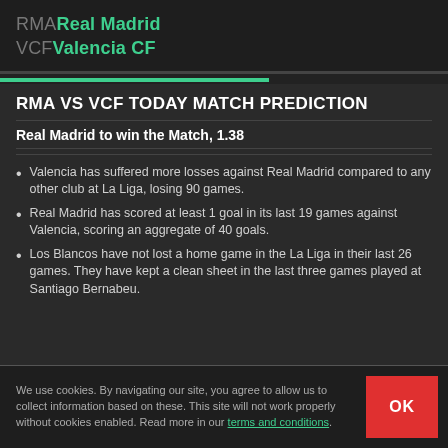RMA Real Madrid
VCF Valencia CF
RMA VS VCF TODAY MATCH PREDICTION
Real Madrid to win the Match, 1.38
Valencia has suffered more losses against Real Madrid compared to any other club at La Liga, losing 90 games.
Real Madrid has scored at least 1 goal in its last 19 games against Valencia, scoring an aggregate of 40 goals.
Los Blancos have not lost a home game in the La Liga in their last 26 games. They have kept a clean sheet in the last three games played at Santiago Bernabeu.
We use cookies. By navigating our site, you agree to allow us to collect information based on these. This site will not work properly without cookies enabled. Read more in our terms and conditions.